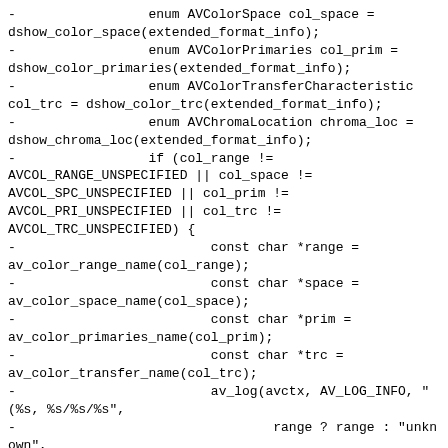-                 enum AVColorSpace col_space =
dshow_color_space(extended_format_info);
-                 enum AVColorPrimaries col_prim =
dshow_color_primaries(extended_format_info);
-                 enum AVColorTransferCharacteristic
col_trc = dshow_color_trc(extended_format_info);
-                 enum AVChromaLocation chroma_loc =
dshow_chroma_loc(extended_format_info);
-                 if (col_range !=
AVCOL_RANGE_UNSPECIFIED || col_space !=
AVCOL_SPC_UNSPECIFIED || col_prim !=
AVCOL_PRI_UNSPECIFIED || col_trc !=
AVCOL_TRC_UNSPECIFIED) {
-                         const char *range =
av_color_range_name(col_range);
-                         const char *space =
av_color_space_name(col_space);
-                         const char *prim =
av_color_primaries_name(col_prim);
-                         const char *trc =
av_color_transfer_name(col_trc);
-                         av_log(avctx, AV_LOG_INFO, "
(%s, %s/%s/%s",
-                                 range ? range : "unknown",
-                                 space ? space : "unknown",
-                                 prim ? prim : "unknown",
-                                 trc ? trc : "unknown");
-                 if (chroma_loc !=
AVCHROMA_LOC_UNSPECIFIED) {
-                         const char *chroma =